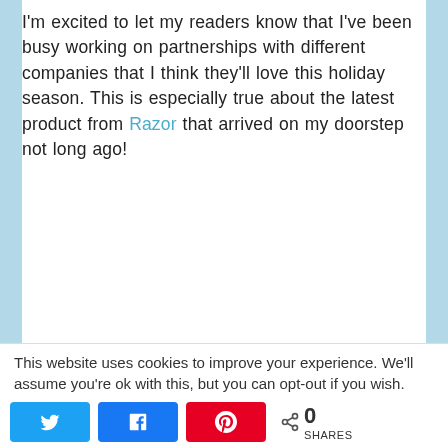I'm excited to let my readers know that I've been busy working on partnerships with different companies that I think they'll love this holiday season. This is especially true about the latest product from Razor that arrived on my doorstep not long ago!
[Figure (photo): Photo of a Razor electric scooter (partial, top portion visible) with orange handlebar accent and a 'NEW' tag, dark grey frame, against a white background with a partial white rectangle overlay on the right side.]
This website uses cookies to improve your experience. We'll assume you're ok with this, but you can opt-out if you wish.
0 SHARES (Twitter, Facebook, Pinterest share buttons)